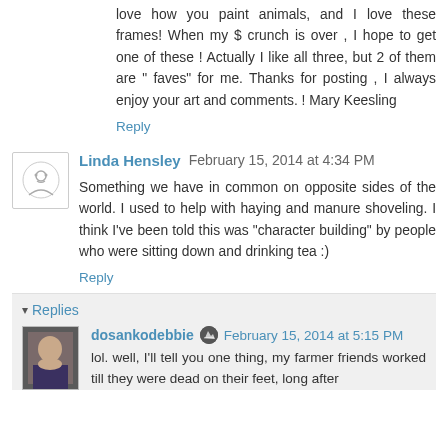love how you paint animals, and I love these frames! When my $ crunch is over , I hope to get one of these ! Actually I like all three, but 2 of them are " faves" for me. Thanks for posting , I always enjoy your art and comments. ! Mary Keesling
Reply
Linda Hensley  February 15, 2014 at 4:34 PM
Something we have in common on opposite sides of the world. I used to help with haying and manure shoveling. I think I've been told this was "character building" by people who were sitting down and drinking tea :)
Reply
▾ Replies
dosankodebbie  February 15, 2014 at 5:15 PM
lol. well, I'll tell you one thing, my farmer friends worked till they were dead on their feet, long after